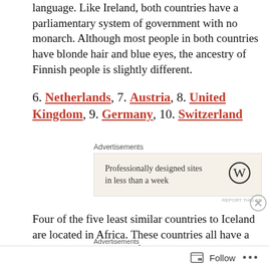language. Like Ireland, both countries have a parliamentary system of government with no monarch. Although most people in both countries have blonde hair and blue eyes, the ancestry of Finnish people is slightly different.
6. Netherlands, 7. Austria, 8. United Kingdom, 9. Germany, 10. Switzerland
[Figure (screenshot): WordPress advertisement: 'Professionally designed sites in less than a week' with WordPress logo]
Four of the five least similar countries to Iceland are located in Africa. These countries all have a much lower standard of living. Furthermore, they
[Figure (screenshot): ULTA beauty advertisement banner with makeup imagery and SHOP button]
Follow ...